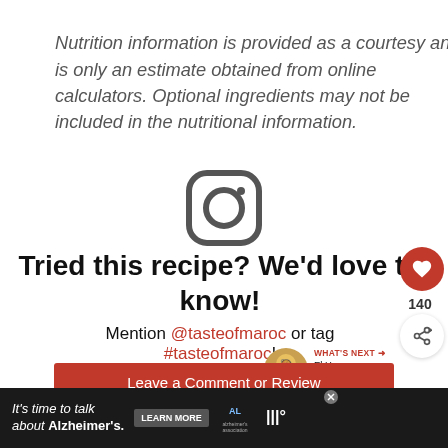Nutrition information is provided as a courtesy and is only an estimate obtained from online calculators. Optional ingredients may not be included in the nutritional information.
[Figure (logo): Instagram camera icon (grayscale outline), centered on page]
Tried this recipe? We'd love to know!
Mention @tasteofmaroc or tag #tasteofmaroc!
Leave a Comment or Review
[Figure (infographic): Advertisement bar at bottom: dark background with text 'It's time to talk about Alzheimer's.' with Learn More button and Alzheimer's Association logo]